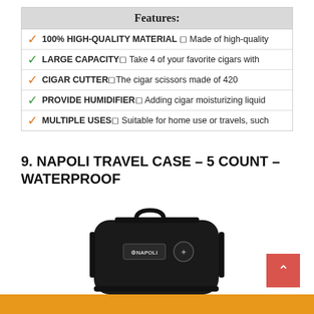Features:
100% HIGH-QUALITY MATERIAL ◻ Made of high-quality
LARGE CAPACITY◻ Take 4 of your favorite cigars with
CIGAR CUTTER◻The cigar scissors made of 420
PROVIDE HUMIDIFIER◻ Adding cigar moisturizing liquid
MULTIPLE USES◻ Suitable for home use or travels, such
9. NAPOLI TRAVEL CASE – 5 COUNT – WATERPROOF
[Figure (photo): Black rugged waterproof travel cigar case with NAPOLI branding and a compass/lock icon, with a carrying handle.]
[Figure (other): Orange bar at bottom of page, partially visible button]